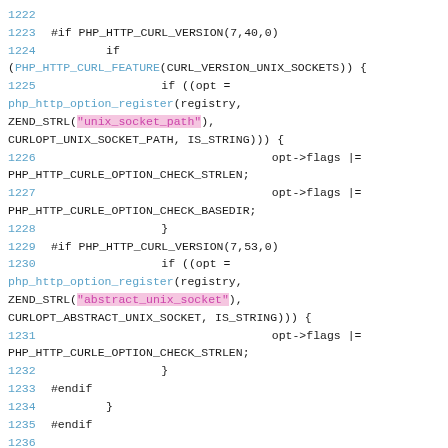Source code listing lines 1222-1235, C code for PHP HTTP CURL options registration